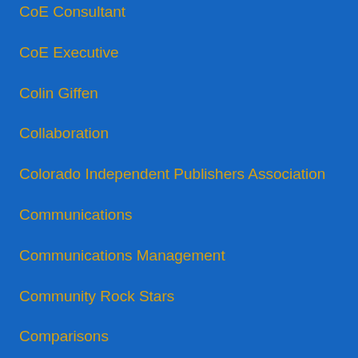CoE Consultant
CoE Executive
Colin Giffen
Collaboration
Colorado Independent Publishers Association
Communications
Communications Management
Community Rock Stars
Comparisons
Compass Books at SFO